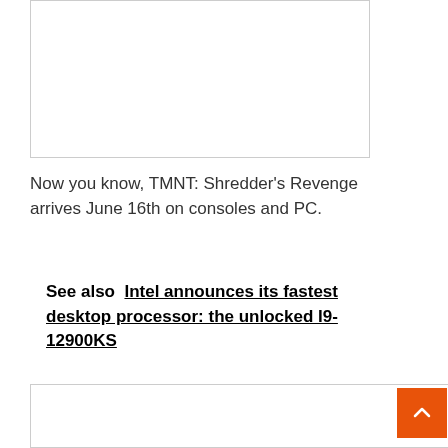[Figure (other): Image placeholder box at the top of the page]
Now you know, TMNT: Shredder's Revenge arrives June 16th on consoles and PC.
See also  Intel announces its fastest desktop processor: the unlocked I9-12900KS
[Figure (other): Image placeholder box at the bottom of the page with orange scroll-to-top button]